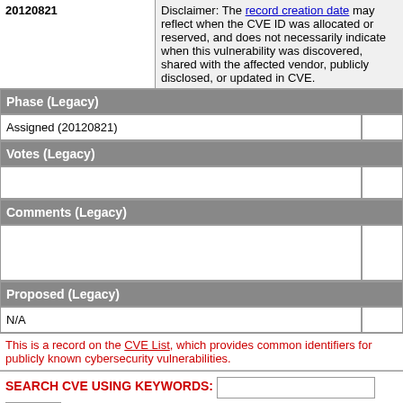| 20120821 | Disclaimer: The record creation date may reflect when the CVE ID was allocated or reserved, and does not necessarily indicate when this vulnerability was discovered, shared with the affected vendor, publicly disclosed, or updated in CVE. |
Phase (Legacy)
| Assigned (20120821) |  |
Votes (Legacy)
|  |  |
Comments (Legacy)
|  |  |
Proposed (Legacy)
| N/A |  |
This is a record on the CVE List, which provides common identifiers for publicly known cybersecurity vulnerabilities.
SEARCH CVE USING KEYWORDS:
Submit
You can also search by reference using the CVE Reference Maps.
For More Information: CVE Request Web Form (select "Other" from dropdown)